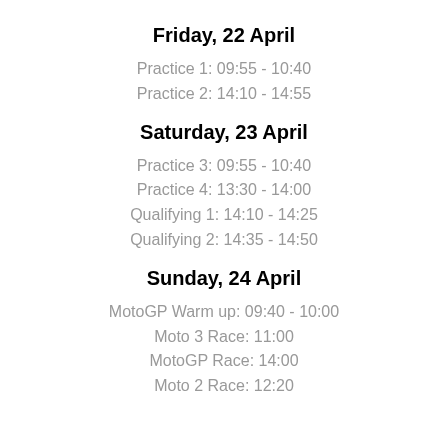Friday, 22 April
Practice 1: 09:55 - 10:40
Practice 2: 14:10 - 14:55
Saturday, 23 April
Practice 3: 09:55 - 10:40
Practice 4: 13:30 - 14:00
Qualifying 1: 14:10 - 14:25
Qualifying 2: 14:35 - 14:50
Sunday, 24 April
MotoGP Warm up: 09:40 - 10:00
Moto 3 Race: 11:00
MotoGP Race: 14:00
Moto 2 Race: 12:20